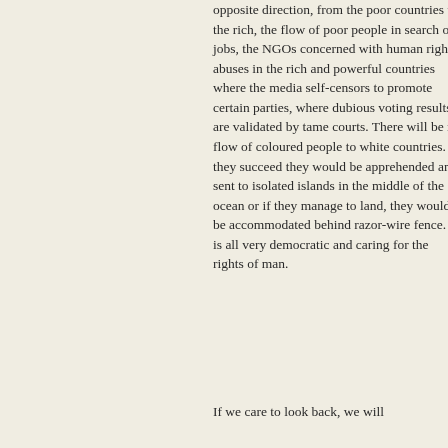opposite direction, from the poor countries to the rich, the flow of poor people in search of jobs, the NGOs concerned with human rights abuses in the rich and powerful countries where the media self-censors to promote certain parties, where dubious voting results are validated by tame courts. There will be no flow of coloured people to white countries. If they succeed they would be apprehended and sent to isolated islands in the middle of the ocean or if they manage to land, they would be accommodated behind razor-wire fence. It is all very democratic and caring for the rights of man.
If we care to look back, we will